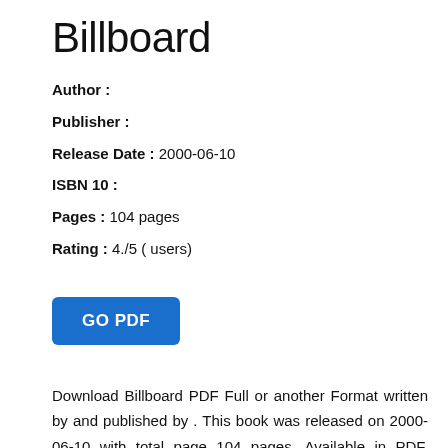Billboard
Author :
Publisher :
Release Date : 2000-06-10
ISBN 10 :
Pages : 104 pages
Rating : 4./5 ( users)
[Figure (other): Blue GO PDF button]
Download Billboard PDF Full or another Format written by and published by . This book was released on 2000-06-10 with total page 104 pages. Available in PDF, EPUB and Kindle. Book excerpt: In its 114th year, Billboard remains the world's premier weekly music publication and a diverse